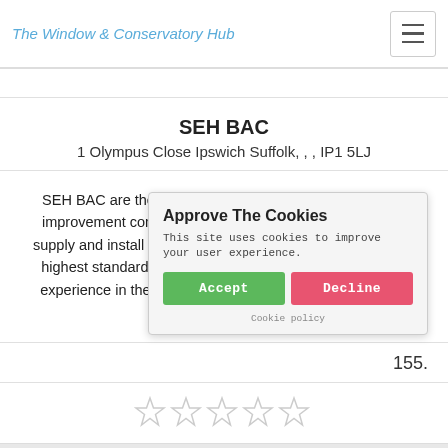The Window & Conservatory Hub
SEH BAC
1 Olympus Close Ipswich Suffolk, , , IP1 5LJ
SEH BAC are the UK's leading double glazing and home improvement company in the South East of England. We supply and install windows, doors and conservatories to the highest standards. History SEH BAC have over 45 years' experience in the double glazing sector, specialising in all types of double gla…
155.
[Figure (screenshot): Cookie consent popup with title 'Approve The Cookies', description text 'This site uses cookies to improve your user experience.', Accept button (green) and Decline button (red/pink), and a Cookie policy link.]
[Figure (other): Five empty/outline star rating icons]